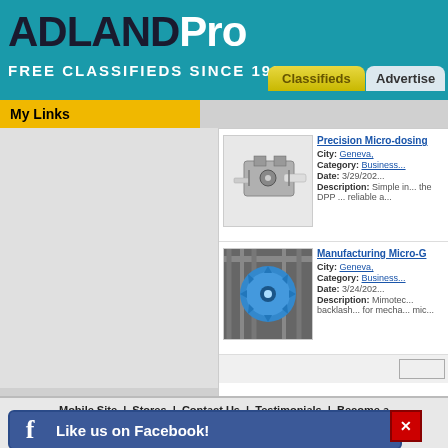ADLANDPro
FREE CLASSIFIEDS SINCE 1998
Classifieds   Advertise
My Links
Precision Micro-dosing
City: Geneva,
Category: Business...
Date: 3/29/202...
Description: Simple in... the DPP ... reliable a...
[Figure (photo): Small mechanical micro-dosing device, metallic with spring component]
Manufacturing Micro-G
City: Geneva,
Category: Business...
Date: 3/24/202...
Description: Mimotec... backlash... for mecha... mic...
[Figure (photo): Blue circular micro-gear component surrounded by metal drill bits]
Mobile Site | Stores | Contact Us | Testimonials | Become a...
Copyright 1998 - 2022, All rig...
Like us on Facebook!